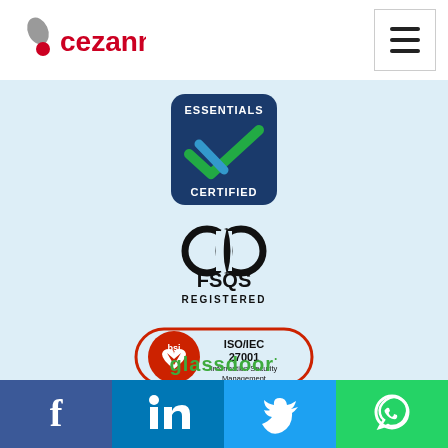[Figure (logo): Cezanne HR logo — grey teardrop/leaf shape with red dot and red 'cezanne' wordmark]
[Figure (other): Navigation hamburger menu button (three horizontal lines) in a bordered square]
[Figure (logo): Cyber Essentials Certified badge — dark blue square with green and blue checkmark, text 'ESSENTIALS' at top and 'CERTIFIED' at bottom]
[Figure (logo): FSQS Registered logo — two interlocking rings above text 'FSQS' and 'REGISTERED']
[Figure (logo): BSI ISO/IEC 27001 Information Security Management certificate badge — red oval with BSI heart logo, text 'ISO/IEC 27001 Information Security Management', number 'IS 696606' below]
glassdoor·
[Figure (logo): Social media share bar: Facebook (blue), LinkedIn (blue), Twitter (light blue), WhatsApp (green)]